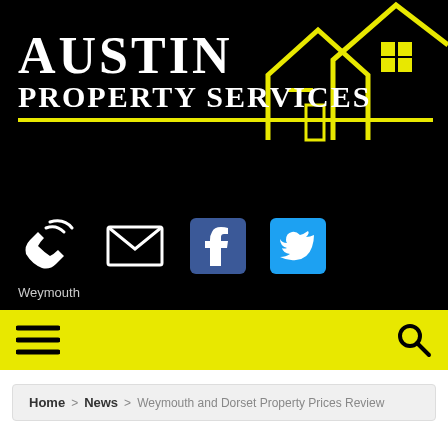[Figure (logo): Austin Property Services logo with house roofline icon in yellow, company name in white on black background]
[Figure (infographic): Navigation icon row: phone/signal icon, envelope/mail icon, Facebook icon (blue), Twitter icon (cyan), with 'Weymouth' label below phone icon]
[Figure (infographic): Yellow navigation bar with hamburger menu icon on left and search/magnifier icon on right]
Home > News > Weymouth and Dorset Property Prices Review
WEYMOUTH AND DORSET PROPERTY